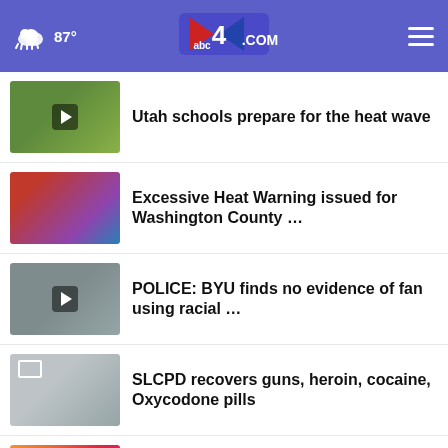87° abc4.com
Utah schools prepare for the heat wave
Excessive Heat Warning issued for Washington County …
POLICE: BYU finds no evidence of fan using racial …
SLCPD recovers guns, heroin, cocaine, Oxycodone pills
Instagram testing more user-friendly controls
For the best reviews, go to BESTREVIEWS Go Now
More Stories +